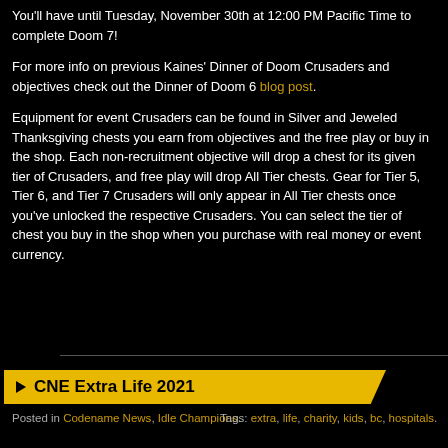You'll have until Tuesday, November 30th at 12:00 PM Pacific Time to complete Doom 7!
For more info on previous Kaines' Dinner of Doom Crusaders and objectives check out the Dinner of Doom 6 blog post.
Equipment for event Crusaders can be found in Silver and Jeweled Thanksgiving chests you earn from objectives and the free play or buy in the shop. Each non-recruitment objective will drop a chest for its given tier of Crusaders, and free play will drop All Tier chests. Gear for Tier 5, Tier 6, and Tier 7 Crusaders will only appear in All Tier chests once you've unlocked the respective Crusaders. You can select the tier of chest you buy in the shop when you purchase with real money or event currency.
CNE Extra Life 2021
Posted in Codename News, Idle Champions. Tags: extra, life, charity, kids, bc, hospitals.